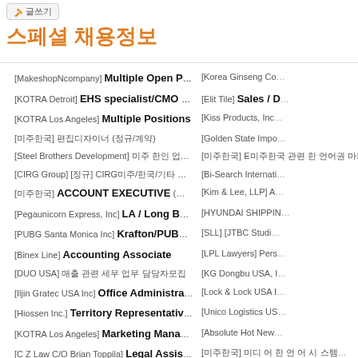스페셜 채용정보
[MakeshopNcompany] Multiple Open Positions
[KOTRA Detroit] EHS specialist/CMO Specialis…
[KOTRA Los Angeles] Multiple Positions
[미주한국] 편집디자이너 (정규/계약)
[Steel Brothers Development] 미주 한인 업체 & 한인 관련 광고
[CIRG Group] [정규] CIRG미주/한국/기타 해외/국내영업 및 한 언어권 마케팅 업무
[미주한국] ACCOUNT EXECUTIVE (정규/계약)
[Pegaunicorn Express, Inc] LA / Long Beach Po…
[PUBG Santa Monica Inc] Krafton/PUBG Americ…
[Binex Line] Accounting Associate
[DUO USA] 매출 관련 세무 업무 담당자모집
[Iljin Gratec USA Inc] Office Administration
[Hiossen Inc.] Territory Representative 판매직원 모집 (인…
[KOTRA Los Angeles] Marketing Manager
[C Z Law C/O Brian Toppila] Legal Assistant
[H Mart Logistics] Office and Store Positions
[PIH Health] Referral Coordinator / Patient Reg…
[KOTRA Los Angeles] Multi Positions & Multi Lo…
[SM Entertainment USA] Multiple Positions
[Korea Ginseng Co…
[Elit Tile] Sales / D…
[Kiss Products, Inc…
[Golden State Impo…
[미주한국] E미주한국 관련 한 언어권 마케…
[Bi-Search Internati…
[Kim & Lee, LLP] A…
[HYUNDAI SHIPPIN…
[SLL] [JTBC Studi…
[LPL Lawyers] Pers…
[KG Dongbu USA, I…
[Lock & Lock USA I…
[Unico Logistics US…
[Absolute Hot New…
[미주한국] 미디 어 한 언 어 시 스템…
[MNH Enterprise In…
[Global Job Matchi…
[Bsg America, Inc]…
[Laude and Co] Sa…